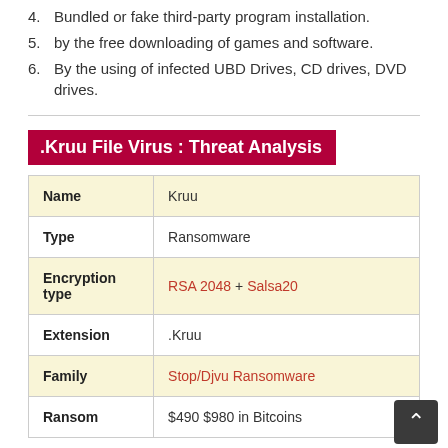4. Bundled or fake third-party program installation.
5. by the free downloading of games and software.
6. By the using of infected UBD Drives, CD drives, DVD drives.
.Kruu File Virus : Threat Analysis
| Name |  |
| --- | --- |
| Name | Kruu |
| Type | Ransomware |
| Encryption type | RSA 2048 + Salsa20 |
| Extension | .Kruu |
| Family | Stop/Djvu Ransomware |
| Ransom | $490  $980 in Bitcoins |